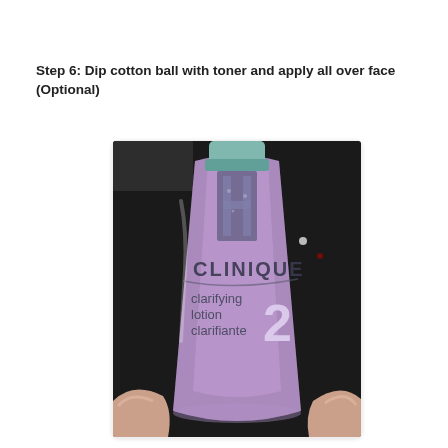Step 6: Dip cotton ball with toner and apply all over face (Optional)
[Figure (photo): A hand holding a Clinique Clarifying Lotion 2 bottle. The bottle is translucent purple/lavender with the Clinique logo and text 'clarifying lotion clarifiante 2' visible on the label. The cap is teal/green. A dark background is visible behind the bottle.]